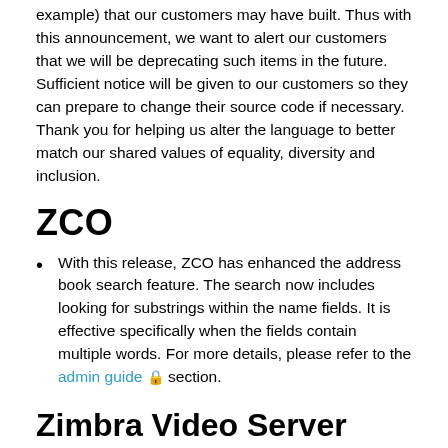example) that our customers may have built. Thus with this announcement, we want to alert our customers that we will be deprecating such items in the future. Sufficient notice will be given to our customers so they can prepare to change their source code if necessary. Thank you for helping us alter the language to better match our shared values of equality, diversity and inclusion.
ZCO
With this release, ZCO has enhanced the address book search feature. The search now includes looking for substrings within the name fields. It is effective specifically when the fields contain multiple words. For more details, please refer to the admin guide 🔒 section.
Zimbra Video Server (BETA)
With this release, we are introducing Video S...